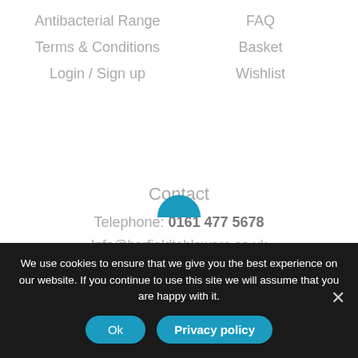Antibacterial Range
FAQ
Terms & Conditions
Basket
Login / Sign up
Wishlist
Contact
Telephone: 0161 477 5678
Info@harfieldtableware.co.uk
[Figure (infographic): Five orange social media icons in a row: Facebook, Twitter, LinkedIn, Instagram, Pinterest]
We use cookies to ensure that we give you the best experience on our website. If you continue to use this site we will assume that you are happy with it.
Ok   Privacy policy